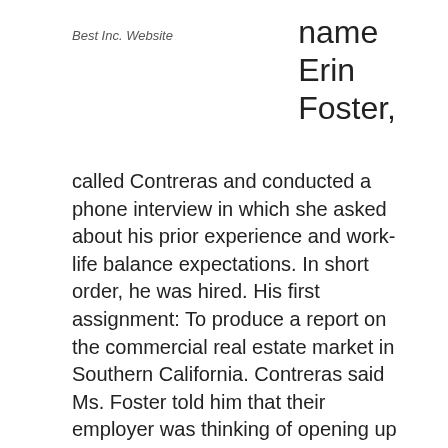Best Inc. Website
name Erin Foster,
called Contreras and conducted a phone interview in which she asked about his prior experience and work-life balance expectations. In short order, he was hired. His first assignment: To produce a report on the commercial real estate market in Southern California. Contreras said Ms. Foster told him that their employer was thinking of opening up an office in the area.
On Monday, Apr. 22 — shortly after he turned in his research assignment — Contreras received his first (and last) task from his employer: Take the $9,180 just deposited into his account and send nearly equal parts via Western Union and Moneygram to four individuals, two who were located in Russia and the other pair in Ukraine.